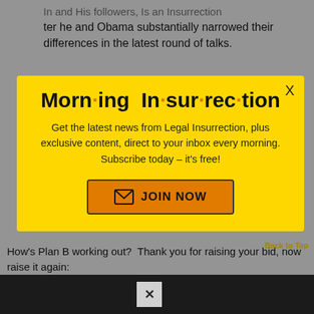...after he and Obama substantially narrowed their differences in the latest round of talks.
[Figure (other): Accessibility icon - wheelchair symbol on teal background]
[Figure (infographic): Morning Insurrection email signup modal popup on yellow background with orange JOIN NOW button]
How's Plan B working out?  Thank you for raising your bid, now raise it again:
Back to Top
[Figure (screenshot): Tweet embed strip showing Ed Henry with close button and Twitter bird icon on dark background]